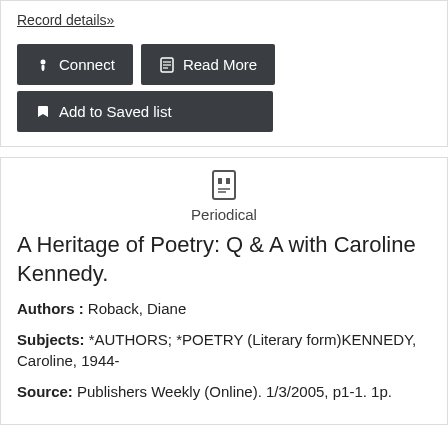Record details»
Connect
Read More
Add to Saved list
Periodical
A Heritage of Poetry: Q & A with Caroline Kennedy.
Authors : Roback, Diane
Subjects: *AUTHORS; *POETRY (Literary form)KENNEDY, Caroline, 1944-
Source: Publishers Weekly (Online). 1/3/2005, p1-1. 1p.